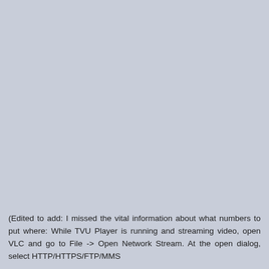(Edited to add: I missed the vital information about what numbers to put where: While TVU Player is running and streaming video, open VLC and go to File -> Open Network Stream. At the open dialog, select HTTP/HTTPS/FTP/MMS